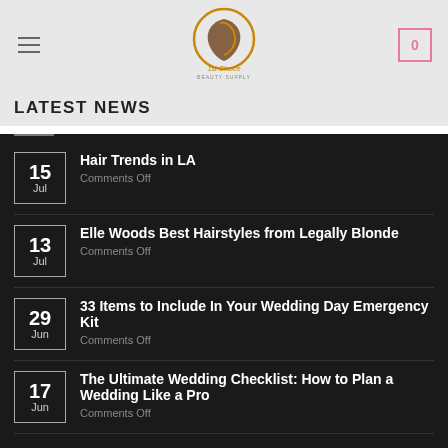[Figure (logo): 1st Choice Beauty Supply logo - circular design with woman's face silhouette]
LATEST NEWS
15 Jul - Hair Trends in LA - Comments Off
13 Jul - Elle Woods Best Hairstyles from Legally Blonde - Comments Off
29 Jun - 33 Items to Include In Your Wedding Day Emergency Kit - Comments Off
17 Jun - The Ultimate Wedding Checklist: How to Plan a Wedding Like a Pro - Comments Off
TAGS